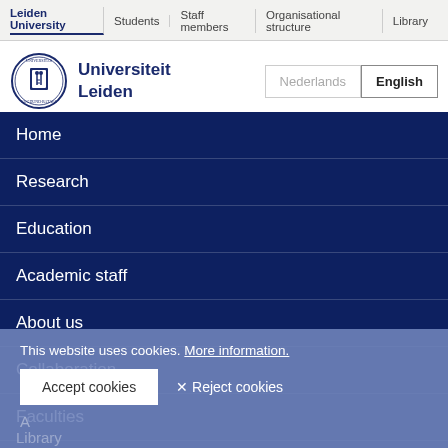Leiden University | Students | Staff members | Organisational structure | Library
[Figure (logo): Leiden University circular seal/crest logo with Latin text and coat of arms]
Universiteit Leiden
Home
Research
Education
Academic staff
About us
Collaboration
Faculties
Campus The Hague
This website uses cookies. More information.
Accept cookies | ✕ Reject cookies